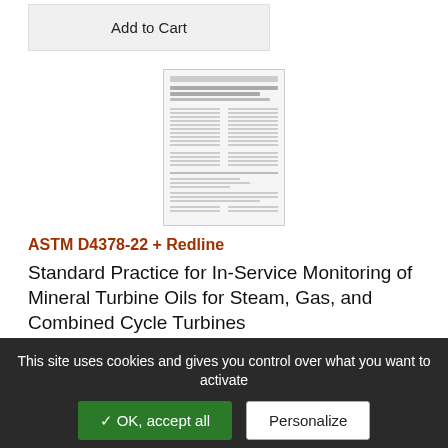[Figure (other): Add to Cart button, a rectangular grey button with text 'Add to Cart']
[Figure (screenshot): Thumbnail preview of an ASTM standards document page showing title and columnar text content]
ASTM D4378-22 + Redline
Standard Practice for In-Service Monitoring of Mineral Turbine Oils for Steam, Gas, and Combined Cycle Turbines
7/1/2022 - PDF - English - ASTM
Learn More
This site uses cookies and gives you control over what you want to activate
✓ OK, accept all
Personalize